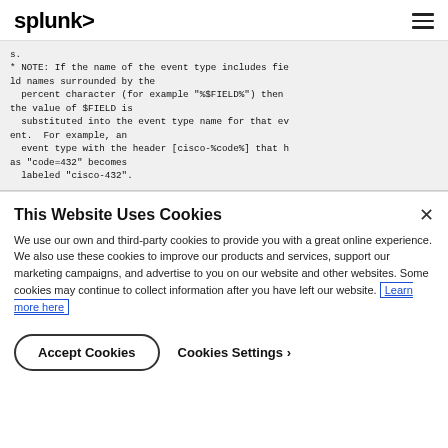splunk>
s.
* NOTE: If the name of the event type includes field names surrounded by the
  percent character (for example "%$FIELD%") then the value of $FIELD is
  substituted into the event type name for that event.  For example, an
  event type with the header [cisco-%code%] that has "code=432" becomes
  labeled "cisco-432".
This Website Uses Cookies
We use our own and third-party cookies to provide you with a great online experience. We also use these cookies to improve our products and services, support our marketing campaigns, and advertise to you on our website and other websites. Some cookies may continue to collect information after you have left our website. Learn more here
Accept Cookies
Cookies Settings ›